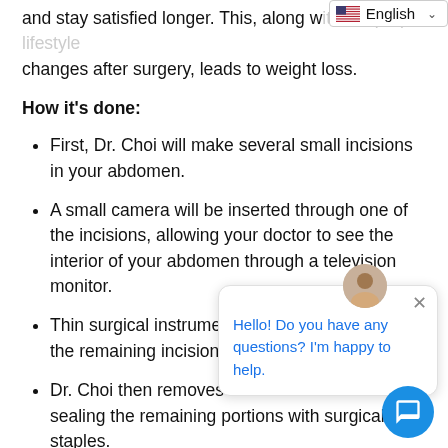and stay satisfied longer. This, along with the proper lifestyle changes after surgery, leads to weight loss.
How it's done:
First, Dr. Choi will make several small incisions in your abdomen.
A small camera will be inserted through one of the incisions, allowing your doctor to see the interior of your abdomen through a television monitor.
Thin surgical instruments are inserted through the remaining incisions.
Dr. Choi then removes a portion of the stomach, sealing the remaining portions with surgical staples.
Your remaining stomach will be shaped like a narrow sleeve.
A sleeve gastrectomy procedure generally only lasts about